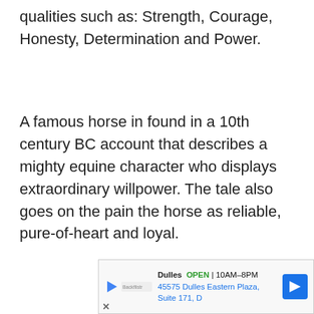qualities such as: Strength, Courage, Honesty, Determination and Power.
A famous horse in found in a 10th century BC account that describes a mighty equine character who displays extraordinary willpower. The tale also goes on the pain the horse as reliable, pure-of-heart and loyal.
[Figure (illustration): Top portion of a cartoon/illustrated horse head showing ears and the top of the brown face with a white blaze, partially cropped at the bottom of the page]
Dulles OPEN 10AM–8PM 45575 Dulles Eastern Plaza, Suite 171, D